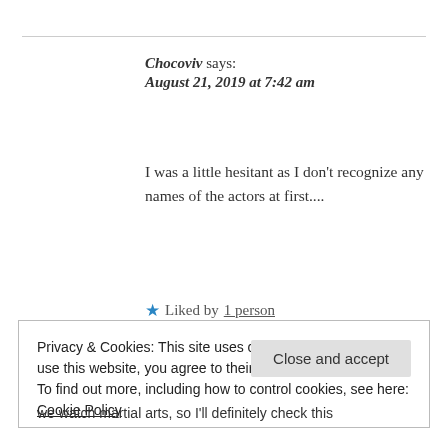Chocoviv says:
August 21, 2019 at 7:42 am
I was a little hesitant as I don't recognize any names of the actors at first....
★ Liked by 1 person
Reply
Privacy & Cookies: This site uses cookies. By continuing to use this website, you agree to their use.
To find out more, including how to control cookies, see here: Cookie Policy
Close and accept
we watch martial arts, so I'll definitely check this